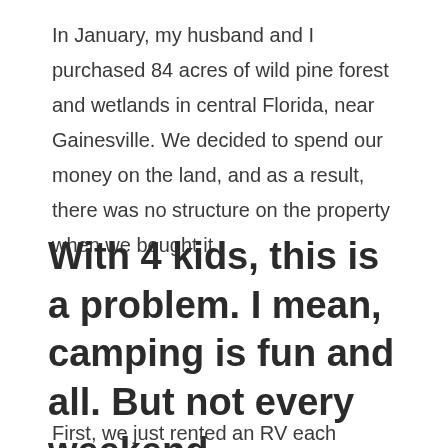In January, my husband and I purchased 84 acres of wild pine forest and wetlands in central Florida, near Gainesville. We decided to spend our money on the land, and as a result, there was no structure on the property when we bought it.
With 4 kids, this is a problem. I mean, camping is fun and all. But not every weekend.
First, we just rented an RV each weekend